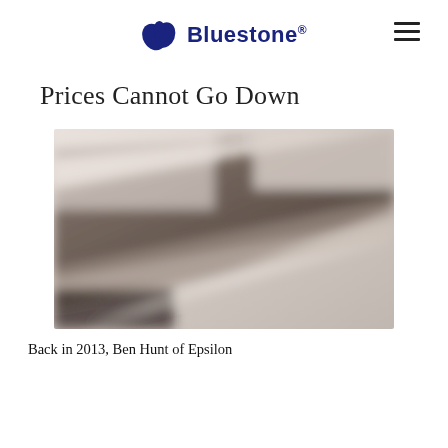Bluestone®
Prices Cannot Go Down
[Figure (photo): Blurred photograph of what appears to be a staircase or architectural interior, showing diagonal lines with soft focus.]
Back in 2013, Ben Hunt of Epsilon